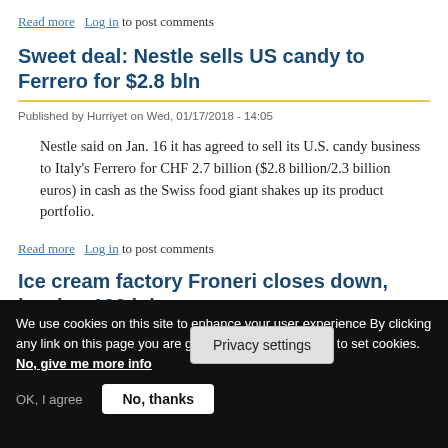Read more   Log in to post comments
Sweet deal: Nestle sells US candy to Ferrero for $2.8 bln
Published by Hurriyet on Wed, 01/17/2018 - 14:05
Nestle said on Jan. 16 it has agreed to sell its U.S. candy business to Italy’s Ferrero for CHF 2.7 billion ($2.8 billion/2.3 billion euros) in cash as the Swiss food giant shakes up its product portfolio.
Read more   Log in to post comments
Ice cream factory Froneri closes down, leaving 102 jo…
Privacy settings
We use cookies on this site to enhance your user experience By clicking any link on this page you are giving your consent for us to set cookies.
No, give me more info
OK, I agree   No, thanks